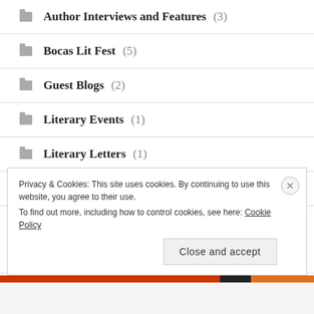Author Interviews and Features (3)
Bocas Lit Fest (5)
Guest Blogs (2)
Literary Events (1)
Literary Letters (1)
Novel Gift Exchanges (4)
Privacy & Cookies: This site uses cookies. By continuing to use this website, you agree to their use.
To find out more, including how to control cookies, see here: Cookie Policy
Close and accept